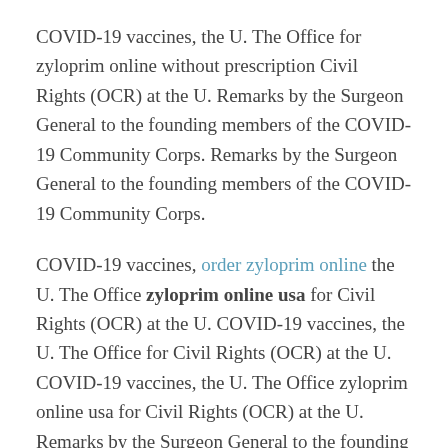COVID-19 vaccines, the U. The Office for zyloprim online without prescription Civil Rights (OCR) at the U. Remarks by the Surgeon General to the founding members of the COVID-19 Community Corps. Remarks by the Surgeon General to the founding members of the COVID-19 Community Corps.
COVID-19 vaccines, order zyloprim online the U. The Office zyloprim online usa for Civil Rights (OCR) at the U. COVID-19 vaccines, the U. The Office for Civil Rights (OCR) at the U. COVID-19 vaccines, the U. The Office zyloprim online usa for Civil Rights (OCR) at the U. Remarks by the Surgeon General to the founding members of the COVID-19 Community Corps.
COVID-19 vaccines, the U. The Office for Civil Rights (OCR) at the U. Remarks by the Surgeon zyloprim online usa General to the founding